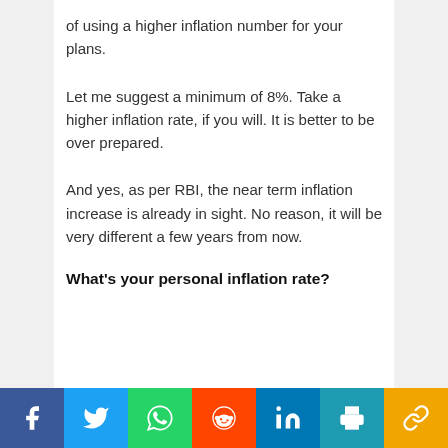of using a higher inflation number for your plans.
Let me suggest a minimum of 8%. Take a higher inflation rate, if you will. It is better to be over prepared.
And yes, as per RBI, the near term inflation increase is already in sight. No reason, it will be very different a few years from now.
What's your personal inflation rate?
[Figure (infographic): Social sharing bar with icons for Facebook, Twitter, WhatsApp, Reddit, LinkedIn, Print, and Copy Link]